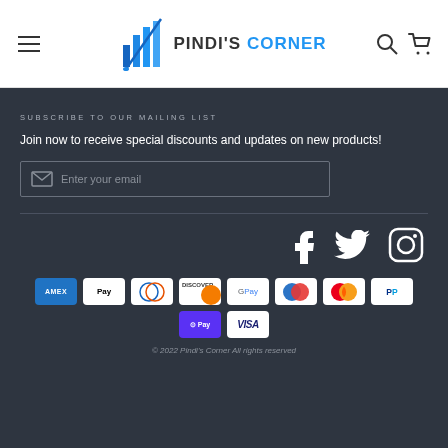[Figure (logo): Pindi's Corner logo with blue bar chart graphic and brand name]
SUBSCRIBE TO OUR MAILING LIST
Join now to receive special discounts and updates on new products!
[Figure (screenshot): Email subscription input field with envelope icon and placeholder text 'Enter your email']
[Figure (infographic): Social media icons: Facebook, Twitter, Instagram]
[Figure (infographic): Payment method icons: Amex, Apple Pay, Diners Club, Discover, Google Pay, Maestro, Mastercard, PayPal, Shop Pay, Visa]
© 2022 Pindi's Corner All rights reserved